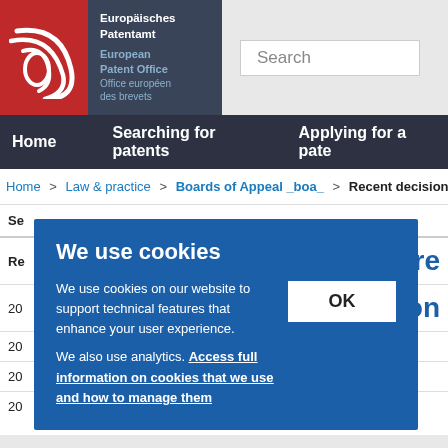[Figure (logo): European Patent Office logo with red background and white concentric arcs, alongside dark blue text block with Europäisches Patentamt, European Patent Office, Office européen des brevets]
Search
Home   Searching for patents   Applying for a pate
Home > Law & practice > Boards of Appeal _boa_ > Recent decisions
We use cookies
We use cookies on our website to support technical features that enhance your user experience.
We also use analytics. Access full information on cookies that we use and how to manage them
OK